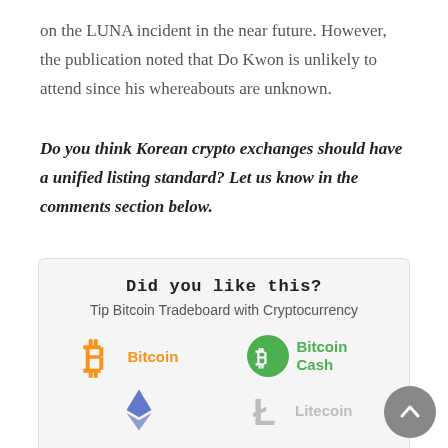on the LUNA incident in the near future. However, the publication noted that Do Kwon is unlikely to attend since his whereabouts are unknown.
Do you think Korean crypto exchanges should have a unified listing standard? Let us know in the comments section below.
Did you like this?
Tip Bitcoin Tradeboard with Cryptocurrency
[Figure (infographic): Cryptocurrency tipping icons: Bitcoin (orange B symbol), Bitcoin Cash (green circle with B), Ethereum (blue diamond), Litecoin (grey L symbol)]